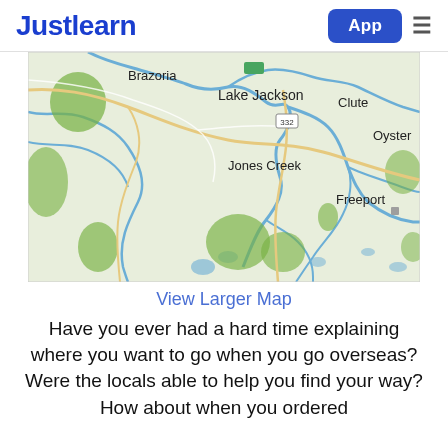Justlearn | App
[Figure (map): Map showing the area around Lake Jackson, Brazoria, Clute, Jones Creek, Freeport, and Oyster Creek in Texas, with rivers and green areas visible.]
View Larger Map
Have you ever had a hard time explaining where you want to go when you go overseas? Were the locals able to help you find your way? How about when you ordered food for? How did it... all the suits that the ...